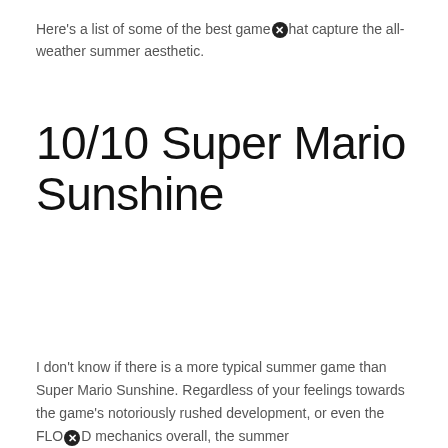Here's a list of some of the best games that capture the all-weather summer aesthetic.
10/10 Super Mario Sunshine
I don't know if there is a more typical summer game than Super Mario Sunshine. Regardless of your feelings towards the game's notoriously rushed development, or even the FLOOD mechanics overall, the summer